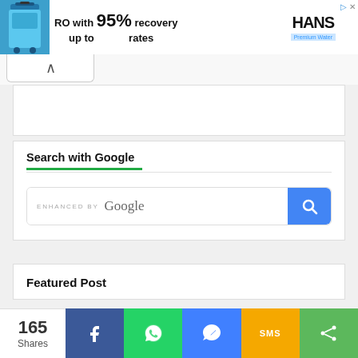[Figure (other): Advertisement banner: blue water filter bin on left, text 'RO with 95% recovery rates' in center, HANS Premium Water logo on right]
[Figure (other): Collapse/toggle button with upward caret icon]
[Figure (other): White advertisement placeholder block]
Search with Google
[Figure (other): Google search box with 'ENHANCED BY Google' placeholder text and blue search button]
Featured Post
[Figure (other): Social share bar: 165 Shares, Facebook, WhatsApp, Messenger, SMS, and more share icons]